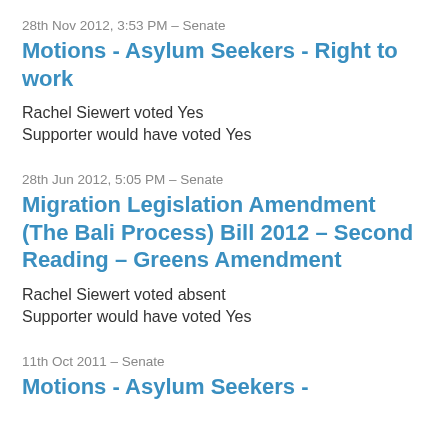28th Nov 2012, 3:53 PM – Senate
Motions - Asylum Seekers - Right to work
Rachel Siewert voted Yes
Supporter would have voted Yes
28th Jun 2012, 5:05 PM – Senate
Migration Legislation Amendment (The Bali Process) Bill 2012 - Second Reading - Greens Amendment
Rachel Siewert voted absent
Supporter would have voted Yes
11th Oct 2011 – Senate
Motions - Asylum Seekers -